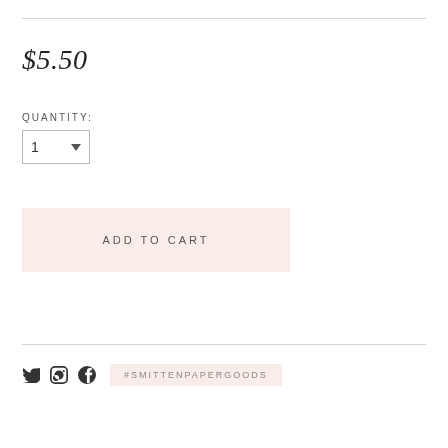$5.50
QUANTITY:
ADD TO CART
#SMITTENPAPERGOODS